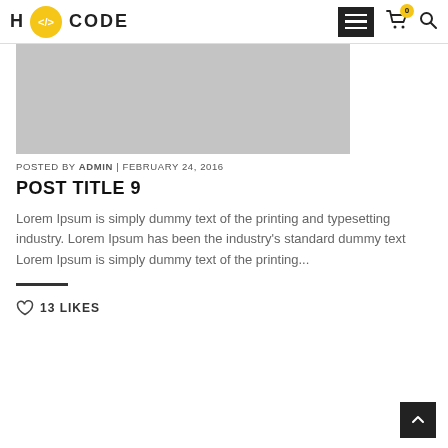H CODE
[Figure (photo): Gray placeholder image for blog post]
POSTED BY ADMIN | FEBRUARY 24, 2016
POST TITLE 9
Lorem Ipsum is simply dummy text of the printing and typesetting industry. Lorem Ipsum has been the industry's standard dummy text Lorem Ipsum is simply dummy text of the printing...
13 LIKES